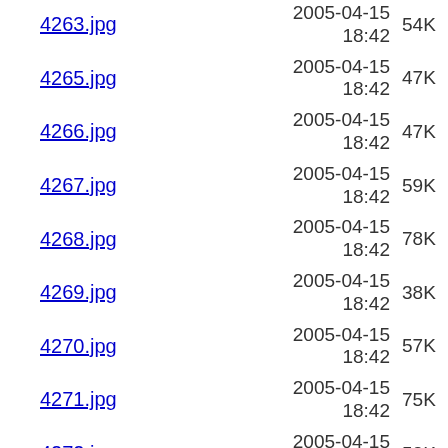4263.jpg  2005-04-15 18:42  54K
4265.jpg  2005-04-15 18:42  47K
4266.jpg  2005-04-15 18:42  47K
4267.jpg  2005-04-15 18:42  59K
4268.jpg  2005-04-15 18:42  78K
4269.jpg  2005-04-15 18:42  38K
4270.jpg  2005-04-15 18:42  57K
4271.jpg  2005-04-15 18:42  75K
4272.jpg  2005-04-15 18:43  52K
4273.jpg  2005-04-15 18:43  55K
4274.jpg  2005-04-15 18:43  46K
4275.jpg  2005-04-15  82K